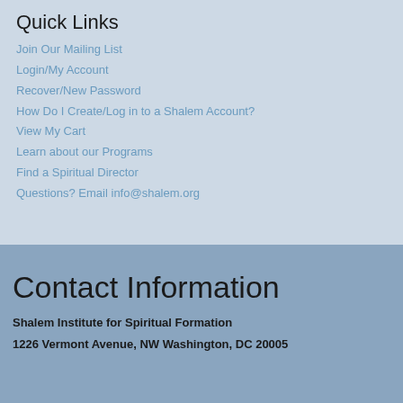Quick Links
Join Our Mailing List
Login/My Account
Recover/New Password
How Do I Create/Log in to a Shalem Account?
View My Cart
Learn about our Programs
Find a Spiritual Director
Questions? Email info@shalem.org
Contact Information
Shalem Institute for Spiritual Formation
1226 Vermont Avenue, NW Washington, DC 20005